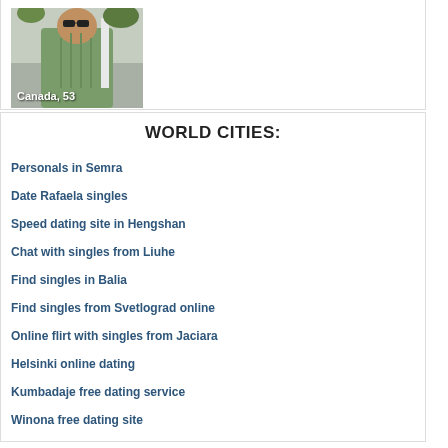[Figure (photo): A man wearing sunglasses and a green checkered shirt, sitting outdoors at what appears to be a restaurant or cafe. Text overlay reads 'Canada, 53'.]
WORLD CITIES:
Personals in Semra
Date Rafaela singles
Speed dating site in Hengshan
Chat with singles from Liuhe
Find singles in Balia
Find singles from Svetlograd online
Online flirt with singles from Jaciara
Helsinki online dating
Kumbadaje free dating service
Winona free dating site